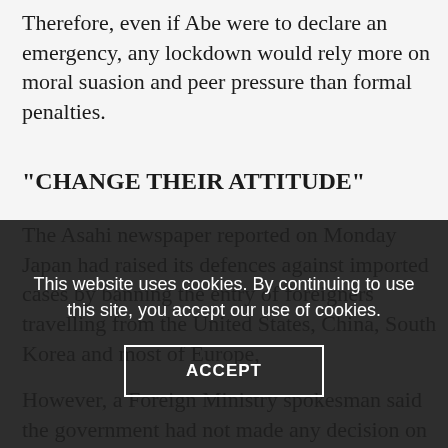Therefore, even if Abe were to declare an emergency, any lockdown would rely more on moral suasion and peer pressure than formal penalties.
“CHANGE THEIR ATTITUDE”
The Asahi newspaper reported on Monday Japan had raised its defences against imported cases by banning the entry of foreigners travelling from the United States, China, South Korea and most of Europe,
However, a Foreign Ministry spokesman said the government had not made any decision on bans.
Some 1,944 people have been infected and at least 56 have died
This website uses cookies. By continuing to use this site, you accept our use of cookies.
ACCEPT